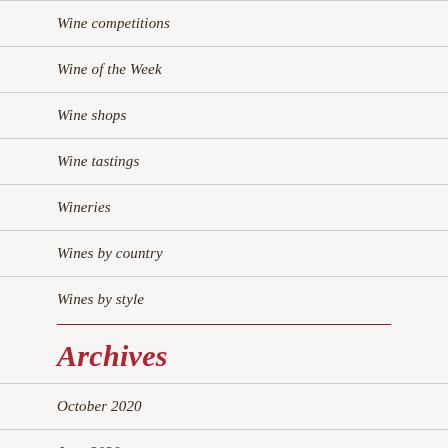Wine competitions
Wine of the Week
Wine shops
Wine tastings
Wineries
Wines by country
Wines by style
Archives
October 2020
June 2020